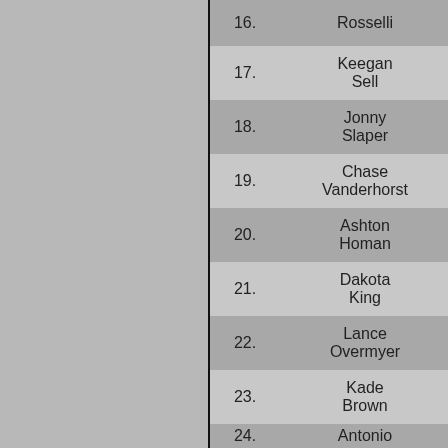| # | Name |
| --- | --- |
| 16. | Rosselli |
| 17. | Keegan Sell |
| 18. | Jonny Slaper |
| 19. | Chase Vanderhorst |
| 20. | Ashton Homan |
| 21. | Dakota King |
| 22. | Lance Overmyer |
| 23. | Kade Brown |
| 24. | Antonio |